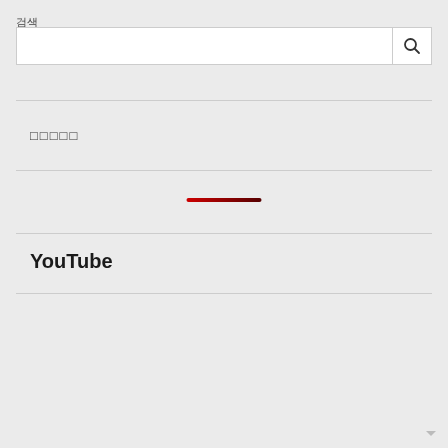검색
[Figure (screenshot): Search input box with a white background and a search icon button on the right]
□□□□□
[Figure (infographic): A short horizontal gradient bar going from red to dark red/maroon]
YouTube